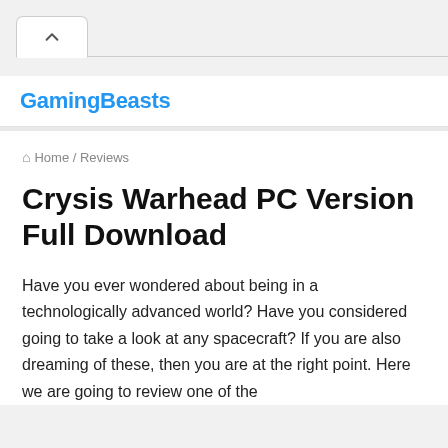GamingBeasts
Home / Reviews
Crysis Warhead PC Version Full Download
Have you ever wondered about being in a technologically advanced world? Have you considered going to take a look at any spacecraft? If you are also dreaming of these, then you are at the right point. Here we are going to review one of the